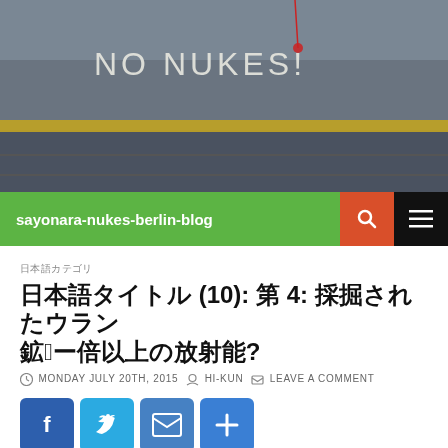[Figure (photo): Photo of stairs/escalator with 'NO NUKES!' written in chalk on the railing surface]
sayonara-nukes-berlin-blog
日本語カテゴリ
日本語タイトル (10): 第 4: 採掘されたウラン鉱石10倍以上の放射能?
MONDAY JULY 20TH, 2015  HI-KUN  LEAVE A COMMENT
[Figure (infographic): Social share buttons: Facebook, Twitter, Email, Share]
Is the mined Uranium safe?